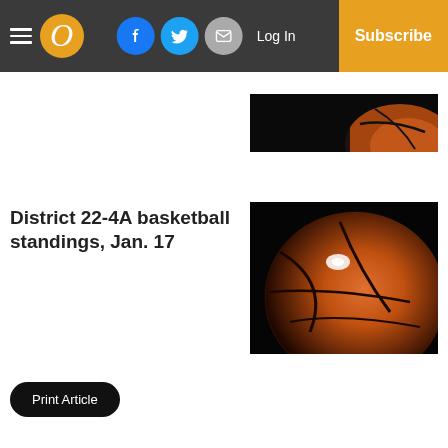Navigation bar with hamburger menu, O logo, Facebook, Twitter, Email icons, Log In, Subscribe
[Figure (photo): Partial view of a basketball on dark background, cropped top portion]
District 22-4A basketball standings, Jan. 17
[Figure (photo): Close-up of a basketball on a black background with lens flare highlight]
Print Article